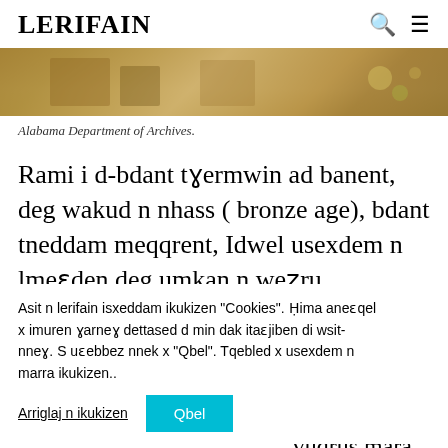LERIFAIN
[Figure (photo): Cropped historical photograph strip showing figures, warm tones with floral elements at right edge]
Alabama Department of Archives.
Rami i d-bdant tɣermwin ad banent, deg wakud n nhass ( bronze age), bdant tneddam meqqrent, Idwel usexdem n lmeɛden deg umkan n weẓru.
Asit n lerifain isxeddam ikukizen "Cookies". Ḥima aneɛqel x imuren ɣarneɣ dettased d min dak itaɛjiben di wsit-nneɣ. S uɛebbez nnek x "Qbel". Tqebled x usexdem n marra ikukizen..
Arriglaj n ikukizen
Qbel
ca n temɣarin yara ad x as aneẓray tedwel d